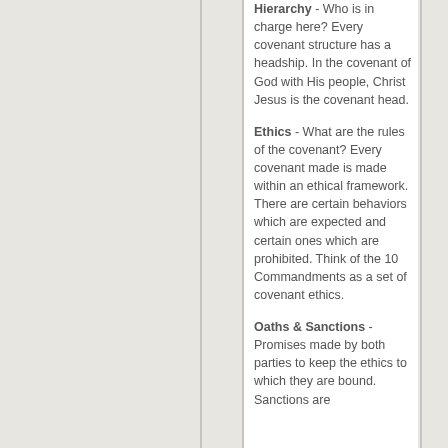Hierarchy - Who is in charge here? Every covenant structure has a headship. In the covenant of God with His people, Christ Jesus is the covenant head.
Ethics - What are the rules of the covenant? Every covenant made is made within an ethical framework. There are certain behaviors which are expected and certain ones which are prohibited. Think of the 10 Commandments as a set of covenant ethics.
Oaths & Sanctions - Promises made by both parties to keep the ethics to which they are bound. Sanctions are